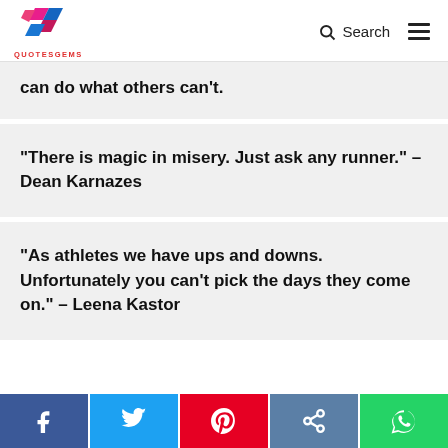[Figure (logo): QuotesGems logo — colorful folded ribbon shape in pink, blue, and magenta with QUOTESGEMS text below in red]
can do what others can't.
“There is magic in misery. Just ask any runner.” – Dean Karnazes
“As athletes we have ups and downs. Unfortunately you can’t pick the days they come on.” – Leena Kastor